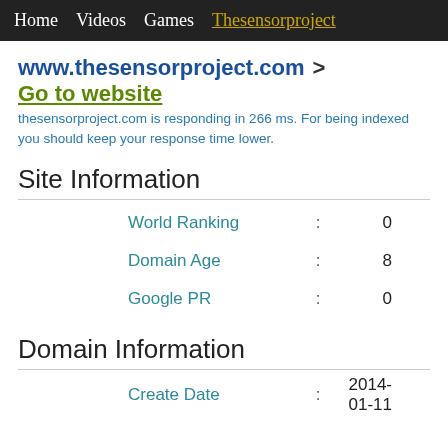Home  Videos  Games  Thesensorproject
www.thesensorproject.com > Go to website
thesensorproject.com is responding in 266 ms. For being indexed you should keep your response time lower.
Site Information
|  | : |  |
| --- | --- | --- |
| World Ranking | : | 0 |
| Domain Age | : | 8 |
| Google PR | : | 0 |
Domain Information
|  | : |  |
| --- | --- | --- |
| Create Date | : | 2014-01-11 |